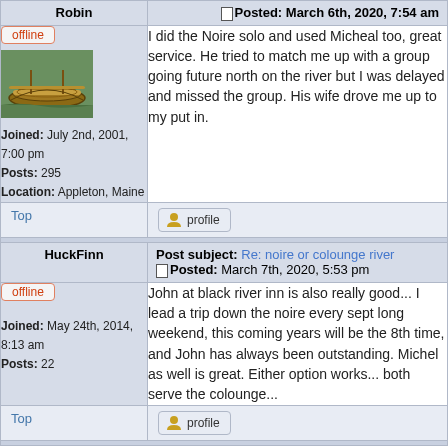Robin | Posted: March 6th, 2020, 7:54 am
offline
Joined: July 2nd, 2001, 7:00 pm
Posts: 295
Location: Appleton, Maine
I did the Noire solo and used Micheal too, great service. He tried to match me up with a group going future north on the river but I was delayed and missed the group. His wife drove me up to my put in.
Top | profile
HuckFinn | Post subject: Re: noire or colounge river | Posted: March 7th, 2020, 5:53 pm
offline
Joined: May 24th, 2014, 8:13 am
Posts: 22
John at black river inn is also really good... I lead a trip down the noire every sept long weekend, this coming years will be the 8th time, and John has always been outstanding. Michel as well is great. Either option works... both serve the colounge...
Top | profile